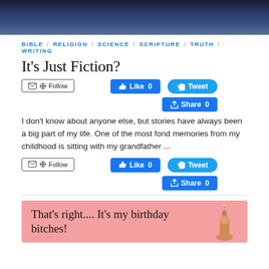[Figure (photo): Dark landscape/night scene image at top of page]
BIBLE / RELIGION / SCIENCE / SCRIPTURE / TRUTH / WRITING
It's Just Fiction?
[Figure (screenshot): Social media buttons: Follow, Like 0, Tweet, Share 0]
I don't know about anyone else, but stories have always been a big part of my life. One of the most fond memories from my childhood is sitting with my grandfather ...
[Figure (screenshot): Social media buttons: Follow, Like 0, Tweet, Share 0]
[Figure (illustration): Pink birthday card image with text: That's right.... It's my birthday bitches!]